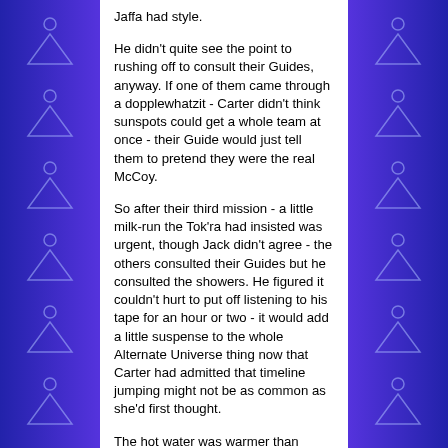Jaffa had style.
He didn't quite see the point to rushing off to consult their Guides, anyway. If one of them came through a dopplewhatzit - Carter didn't think sunspots could get a whole team at once - their Guide would just tell them to pretend they were the real McCoy.
So after their third mission - a little milk-run the Tok'ra had insisted was urgent, though Jack didn't agree - the others consulted their Guides but he consulted the showers. He figured it couldn't hurt to put off listening to his tape for an hour or two - it would add a little suspense to the whole Alternate Universe thing now that Carter had admitted that timeline jumping might not be as common as she'd first thought.
The hot water was warmer than